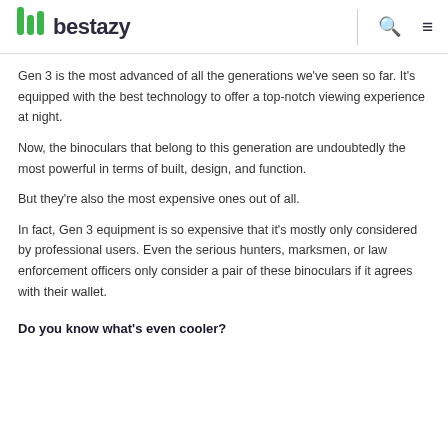bestazy
Gen 3 is the most advanced of all the generations we've seen so far. It's equipped with the best technology to offer a top-notch viewing experience at night.
Now, the binoculars that belong to this generation are undoubtedly the most powerful in terms of built, design, and function.
But they're also the most expensive ones out of all.
In fact, Gen 3 equipment is so expensive that it's mostly only considered by professional users. Even the serious hunters, marksmen, or law enforcement officers only consider a pair of these binoculars if it agrees with their wallet.
Do you know what's even cooler?